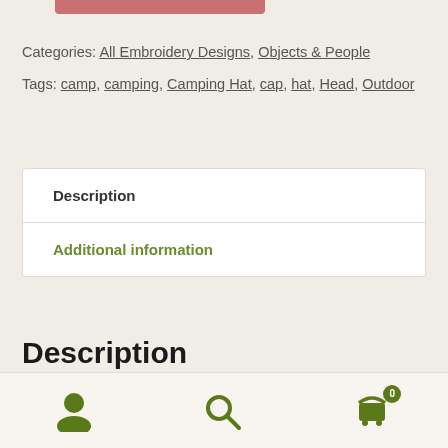[Figure (other): Pink/red rounded rectangle button at top]
Categories: All Embroidery Designs, Objects & People
Tags: camp, camping, Camping Hat, cap, hat, Head, Outdoor
Description
Additional information
Description
Camping Hat Embroidery Design
[Figure (other): Bottom navigation bar with person icon, search icon, and cart icon with badge showing 0]